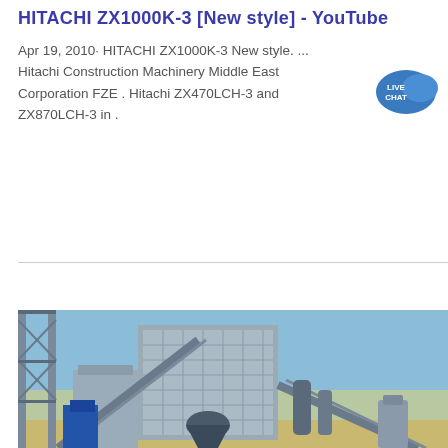HITACHI ZX1000K-3 [New style] - YouTube
Apr 19, 2010· HITACHI ZX1000K-3 New style. ... Hitachi Construction Machinery Middle East Corporation FZE . Hitachi ZX470LCH-3 and ZX870LCH-3 in .
Get Price
[Figure (photo): Industrial facility with conveyor systems, silos and machinery under blue sky]